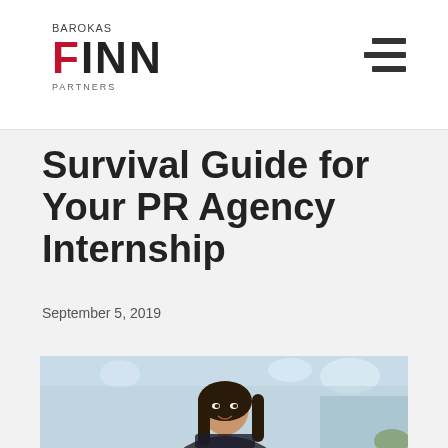BAROKAS FINN PARTNERS
Survival Guide for Your PR Agency Internship
September 5, 2019
[Figure (photo): Young woman with long dark hair smiling, in a bright office environment with blurred background lighting]